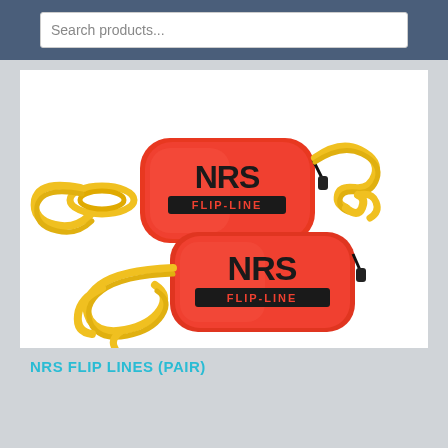Search products...
[Figure (photo): Two NRS Flip-Line bags with yellow ropes. Both bags are red/orange with black NRS FLIP-LINE branding text on them. Yellow braided ropes are coiled and attached to each bag.]
NRS FLIP LINES (PAIR)